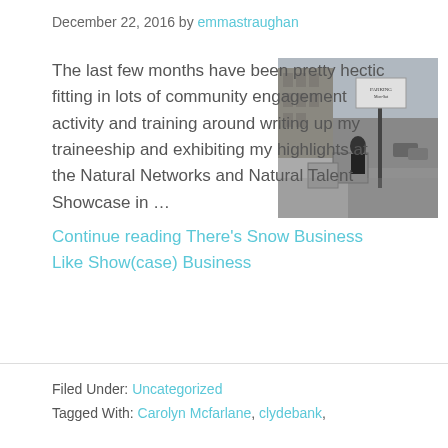December 22, 2016 by emmastraughan
The last few months have been pretty hectic fitting in lots of community engagement activity and training around writing up my traineeship and exhibiting my highlights at the Natural Networks and Natural Talent Showcase in …
[Figure (photo): Street scene showing a rainy urban street with buildings, a street sign pole, and grey overcast sky]
Continue reading There's Snow Business Like Show(case) Business
Filed Under: Uncategorized
Tagged With: Carolyn Mcfarlane, clydebank,